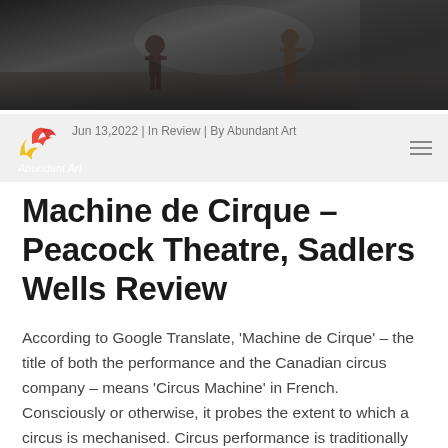[Figure (photo): Dark theatrical stage photo showing performers, dimly lit with dark tones]
Jun 13 2022 | In Review | By Abundant Art
Machine de Cirque – Peacock Theatre, Sadlers Wells Review
According to Google Translate, 'Machine de Cirque' – the title of both the performance and the Canadian circus company – means 'Circus Machine' in French. Consciously or otherwise, it probes the extent to which a circus is mechanised. Circus performance is traditionally centred on carnivalistic material: the outlandish, the 'exotic' (as problematic as this terminology is), and the incredulous. Take, for examples of the exotic and the outlandish, a